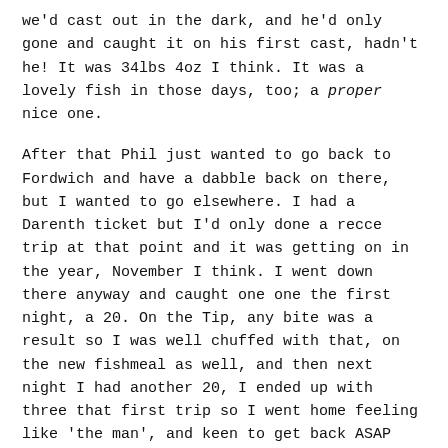we'd cast out in the dark, and he'd only gone and caught it on his first cast, hadn't he! It was 34lbs 4oz I think. It was a lovely fish in those days, too; a proper nice one.
After that Phil just wanted to go back to Fordwich and have a dabble back on there, but I wanted to go elsewhere. I had a Darenth ticket but I'd only done a recce trip at that point and it was getting on in the year, November I think. I went down there anyway and caught one one the first night, a 20. On the Tip, any bite was a result so I was well chuffed with that, on the new fishmeal as well, and then next night I had another 20, I ended up with three that first trip so I went home feeling like 'the man', and keen to get back ASAP before the cold weather really set in. I was back soon enough and lost a real good'un to a hook pull right at the net.